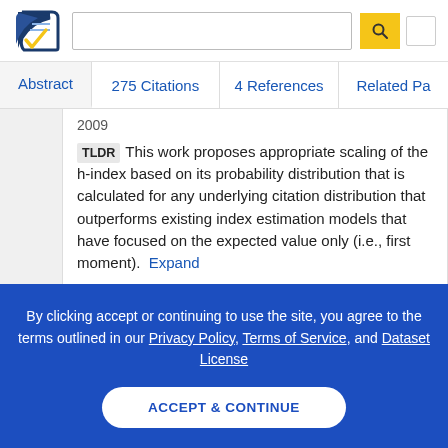[Figure (logo): Semantic Scholar logo — dark blue stylized document with gold checkmark]
Abstract  275 Citations  4 References  Related Pa
2009
TLDR  This work proposes appropriate scaling of the h-index based on its probability distribution that is calculated for any underlying citation distribution that outperforms existing index estimation models that have focused on the expected value only (i.e., first moment).  Expand
By clicking accept or continuing to use the site, you agree to the terms outlined in our Privacy Policy, Terms of Service, and Dataset License
ACCEPT & CONTINUE